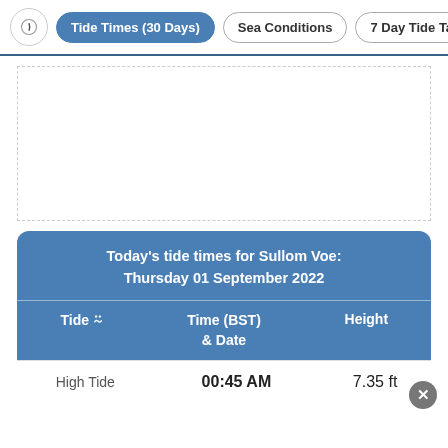Tide Times (30 Days) | Sea Conditions | 7 Day Tide Tab
[Figure (other): Empty white chart area for tide graph]
| Tide | Time (BST) & Date | Height |
| --- | --- | --- |
| High Tide | 00:45 AM | 7.35 ft |